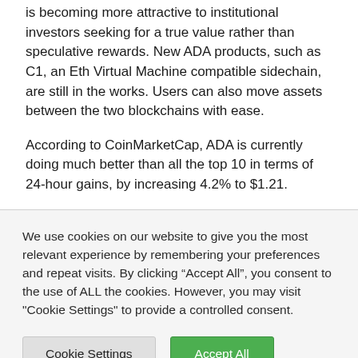is becoming more attractive to institutional investors seeking for a true value rather than speculative rewards. New ADA products, such as C1, an Eth Virtual Machine compatible sidechain, are still in the works. Users can also move assets between the two blockchains with ease.
According to CoinMarketCap, ADA is currently doing much better than all the top 10 in terms of 24-hour gains, by increasing 4.2% to $1.21.
We use cookies on our website to give you the most relevant experience by remembering your preferences and repeat visits. By clicking “Accept All”, you consent to the use of ALL the cookies. However, you may visit "Cookie Settings" to provide a controlled consent.